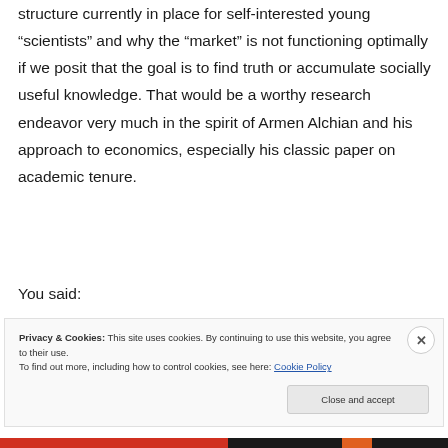structure currently in place for self-interested young “scientists” and why the “market” is not functioning optimally if we posit that the goal is to find truth or accumulate socially useful knowledge. That would be a worthy research endeavor very much in the spirit of Armen Alchian and his approach to economics, especially his classic paper on academic tenure.
You said:
Privacy & Cookies: This site uses cookies. By continuing to use this website, you agree to their use.
To find out more, including how to control cookies, see here: Cookie Policy